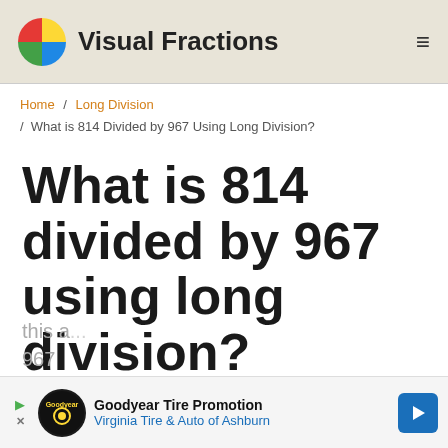Visual Fractions
Home / Long Division / What is 814 Divided by 967 Using Long Division?
What is 814 divided by 967 using long division?
Confused by long division? By the end of this ...
[Figure (other): Goodyear Tire Promotion advertisement banner — Virginia Tire & Auto of Ashburn]